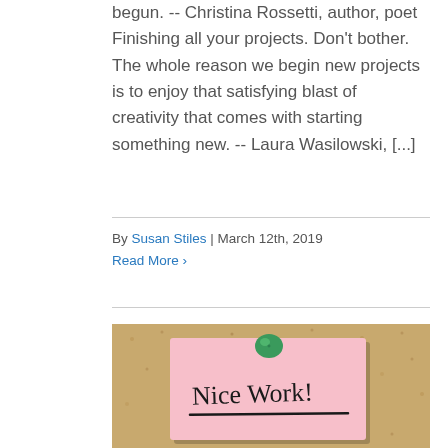begun. -- Christina Rossetti, author, poet Finishing all your projects. Don't bother. The whole reason we begin new projects is to enjoy that satisfying blast of creativity that comes with starting something new. -- Laura Wasilowski, [...]
By Susan Stiles | March 12th, 2019
Read More >
[Figure (photo): A pink sticky note pinned to a corkboard with a green thumbtack. The note reads 'Nice Work!' in handwritten black ink with an underline.]